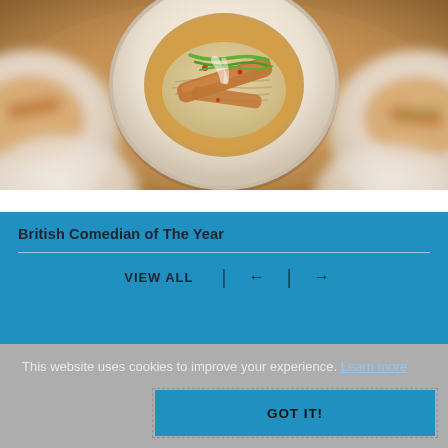[Figure (photo): Overhead photo of multiple white bowls/plates containing Asian noodle dishes with grilled chicken strips, green onion garnishes, and golden broth/sauce. Center plate is in focus with surrounding plates blurred.]
British Comedian of The Year
VIEW ALL  ←  →
This website uses cookies to improve your experience. Learn more
GOT IT!